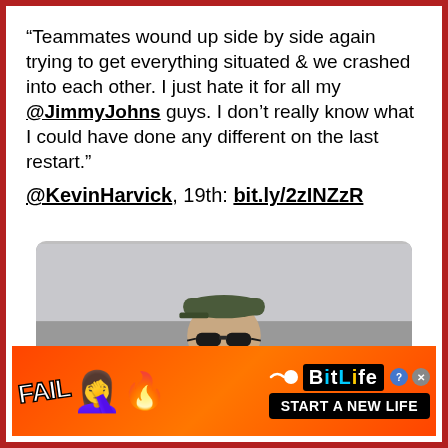“Teammates wound up side by side again trying to get everything situated & we crashed into each other. I just hate it for all my @JimmyJohns guys. I don’t really know what I could have done any different on the last restart.”
@KevinHarvick, 19th: bit.ly/2zINZzR
[Figure (photo): Photo of Kevin Harvick wearing sunglasses, a green baseball cap, and a white and black racing suit with sponsor logos]
[Figure (infographic): BitLife advertisement banner with red/orange flame background, FAIL text, face-palm emoji, flame emoji, sperm icon, BitLife logo, and START A NEW LIFE button]